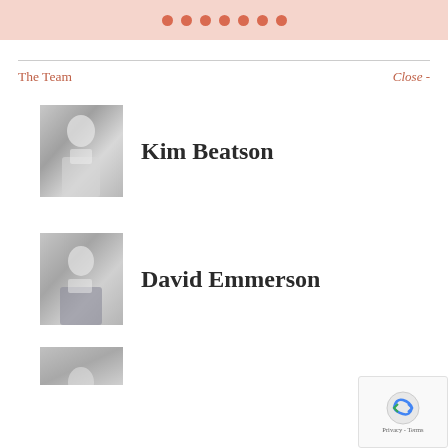[Figure (other): Salmon/pink horizontal banner with 7 terracotta/salmon colored dots arranged in a row]
The Team
Close -
[Figure (photo): Professional headshot of Kim Beatson, a woman with grey/silver hair wearing a white and black outfit, against a grey gradient background]
Kim Beatson
[Figure (photo): Professional headshot of David Emmerson, a man wearing glasses and a dark suit with white shirt, against a grey gradient background]
David Emmerson
[Figure (photo): Partial view of a third team member's professional headshot at bottom of page]